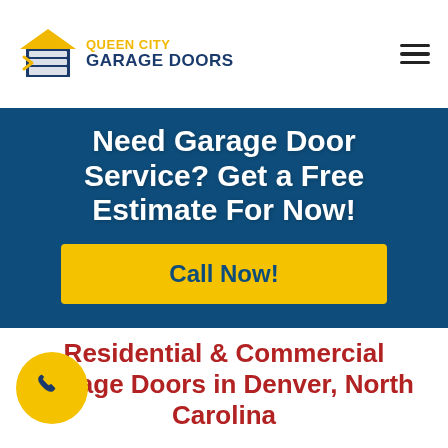Queen City Garage Doors
Need Garage Door Service? Get a Free Estimate For Now!
Call Now!
Residential & Commercial Garage Doors in Denver, North Carolina